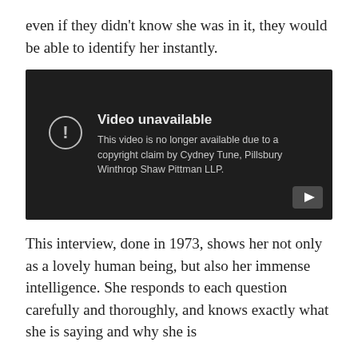even if they didn't know she was in it, they would be able to identify her instantly.
[Figure (screenshot): YouTube video unavailable embed showing message: 'Video unavailable. This video is no longer available due to a copyright claim by Cydney Tune, Pillsbury Winthrop Shaw Pittman LLP.']
This interview, done in 1973, shows her not only as a lovely human being, but also her immense intelligence. She responds to each question carefully and thoroughly, and knows exactly what she is saying and why she is